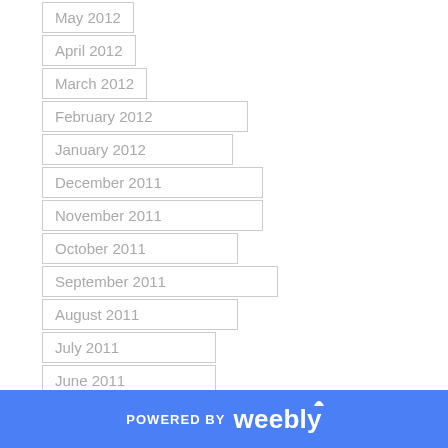May 2012
April 2012
March 2012
February 2012
January 2012
December 2011
November 2011
October 2011
September 2011
August 2011
July 2011
June 2011
May 2011
POWERED BY weebly